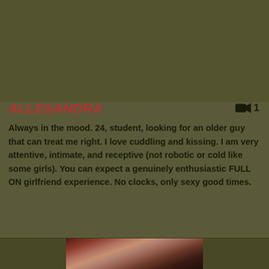[Figure (photo): Partial image strip visible at top of page, cropped]
ALLESANDRA
Always in the mood. 24, student, looking for an older guy that can treat me right. I love cuddling and kissing. I am very attentive, intimate, and receptive (not robotic or cold like some girls). You can expect a genuinely enthusiastic FULL ON girlfriend experience. No clocks, only sexy good times.
[Figure (photo): Photo of a young woman with long dark hair, wearing black, against a red curtain background]